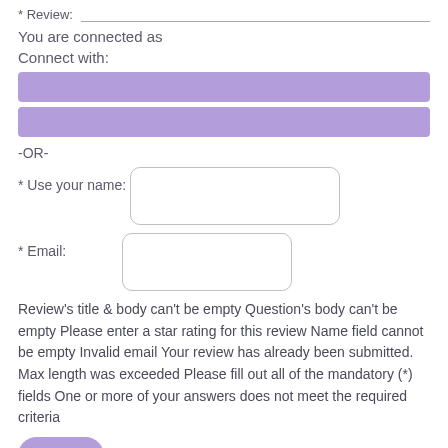* Review:
You are connected as
Connect with:
[Figure (other): Two purple social connect buttons stacked vertically]
-OR-
* Use your name:
* Email:
Review's title & body can't be empty Question's body can't be empty Please enter a star rating for this review Name field cannot be empty Invalid email Your review has already been submitted. Max length was exceeded Please fill out all of the mandatory (*) fields One or more of your answers does not meet the required criteria
Post